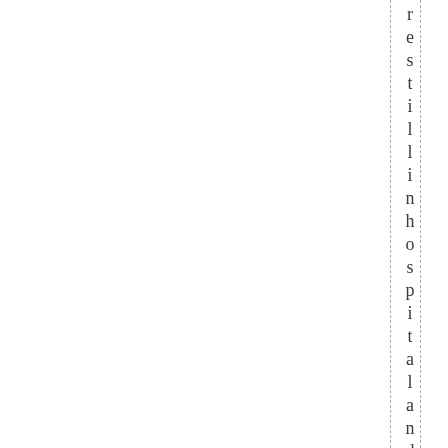restilling inhospital and notre